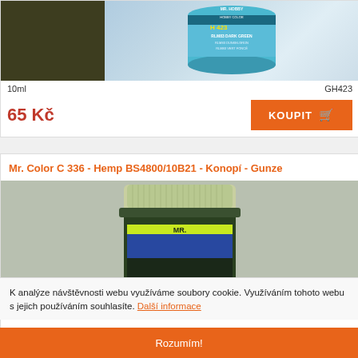[Figure (photo): Product listing: dark green color swatch and Mr. Hobby Color H423 RLMB3 Dark Green paint can image]
10ml	GH423
65 Kč
KOUPIT
Mr. Color C 336 - Hemp BS4800/10B21 - Konopí - Gunze
[Figure (photo): Mr. Color C 336 hemp paint bottle with light olive/hemp colored cap and Mr. branding label]
K analýze návštěvnosti webu využíváme soubory cookie. Využíváním tohoto webu s jejich používáním souhlasíte. Další informace
Rozumím!